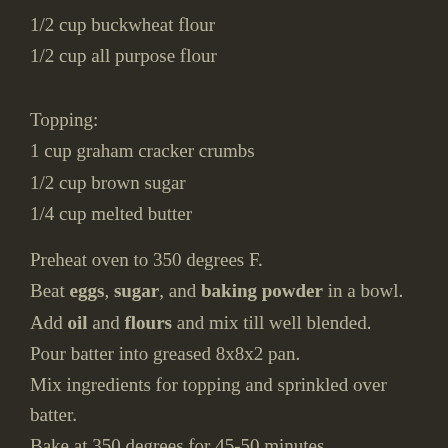1/2 cup buckwheat flour
1/2 cup all purpose flour
Topping:
1 cup graham cracker crumbs
1/2 cup brown sugar
1/4 cup melted butter
Preheat oven to 350 degrees F.
Beat eggs, sugar, and baking powder in a bowl.
Add oil and flours and mix till well blended.
Pour batter into greased 8x8x2 pan.
Mix ingredients for topping and sprinkled over batter.
Bake at 350 degrees for 45-50 minutes.
Buckwheat Coffeecake Muffins